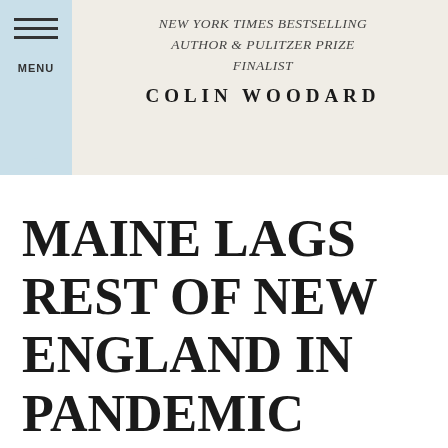NEW YORK TIMES BESTSELLING AUTHOR & PULITZER PRIZE FINALIST
COLIN WOODARD
MAINE LAGS REST OF NEW ENGLAND IN PANDEMIC DATA